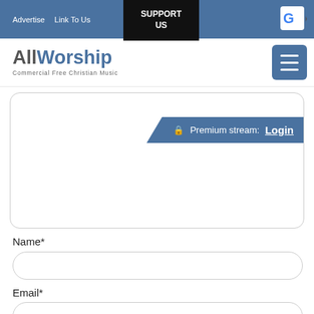Advertise  Link To Us  SUPPORT US
AllWorship - Commercial Free Christian Music
[Figure (screenshot): Media player box with Premium stream login banner in blue]
Name*
Email*